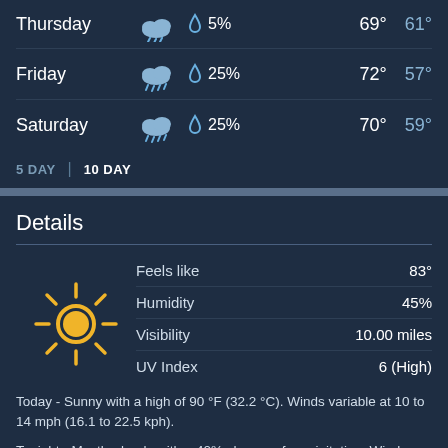| Day | Condition | Precipitation | High | Low |
| --- | --- | --- | --- | --- |
| Thursday | rain-cloud | 5% | 69° | 61° |
| Friday | rain-cloud | 25% | 72° | 57° |
| Saturday | rain-cloud | 25% | 70° | 59° |
5 DAY | 10 DAY
Details
[Figure (illustration): Yellow sun icon with rays]
| Detail | Value |
| --- | --- |
| Feels like | 83° |
| Humidity | 45% |
| Visibility | 10.00 miles |
| UV Index | 6 (High) |
Today - Sunny with a high of 90 °F (32.2 °C). Winds variable at 10 to 14 mph (16.1 to 22.5 kph).
Tonight - Mostly cloudy with a 40% chance of precipitation. Winds variable at 4 to 12 mph (6.4 to 19.3 kph). The overnight low will be 69